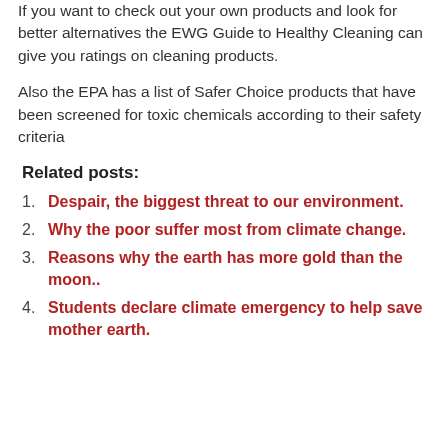If you want to check out your own products and look for better alternatives the EWG Guide to Healthy Cleaning can give you ratings on cleaning products.
Also the EPA has a list of Safer Choice products that have been screened for toxic chemicals according to their safety criteria
Related posts:
Despair, the biggest threat to our environment.
Why the poor suffer most from climate change.
Reasons why the earth has more gold than the moon..
Students declare climate emergency to help save mother earth.